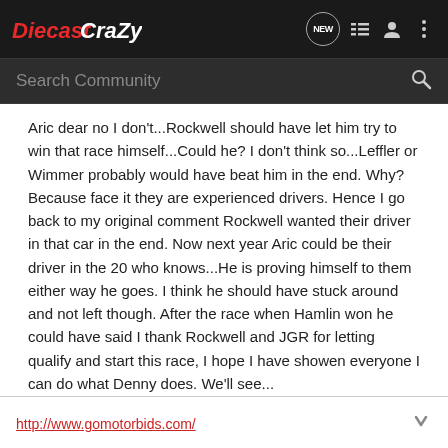DiecastCrazy — navigation bar with logo, NEW button, list icon, user icon, more icon
Search Community
Aric dear no I don't...Rockwell should have let him try to win that race himself...Could he? I don't think so...Leffler or Wimmer probably would have beat him in the end. Why? Because face it they are experienced drivers. Hence I go back to my original comment Rockwell wanted their driver in that car in the end. Now next year Aric could be their driver in the 20 who knows...He is proving himself to them either way he goes. I think he should have stuck around and not left though. After the race when Hamlin won he could have said I thank Rockwell and JGR for letting qualify and start this race, I hope I have showen everyone I can do what Denny does. We'll see...
http://www.gomotorbids.com/